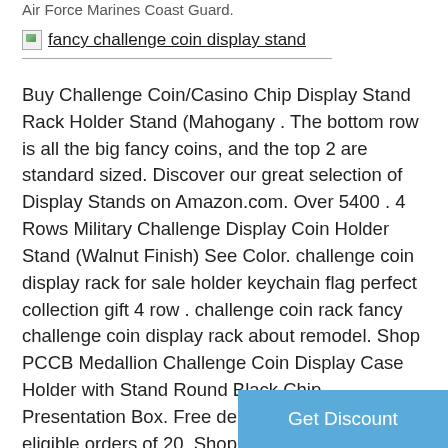Air Force Marines Coast Guard.
[Figure (illustration): Broken image placeholder with green icon and link text: fancy challenge coin display stand]
Buy Challenge Coin/Casino Chip Display Stand Rack Holder Stand (Mahogany . The bottom row is all the big fancy coins, and the top 2 are standard sized. Discover our great selection of Display Stands on Amazon.com. Over 5400 . 4 Rows Military Challenge Display Coin Holder Stand (Walnut Finish) See Color. challenge coin display rack for sale holder keychain flag perfect collection gift 4 row . challenge coin rack fancy challenge coin display rack about remodel. Shop PCCB Medallion Challenge Coin Display Case Holder with Stand Round Black Chip Presentation Box. Free delivery and returns on eligible orders of 20. Shop Military Challenge Coin Display Case Counter Top Holder Stand Shadow Box, Glass door, Mahoga... (A) by DisplayGifts. Free delivery. Bl...
[Figure (other): Get Discount button overlay in blue]